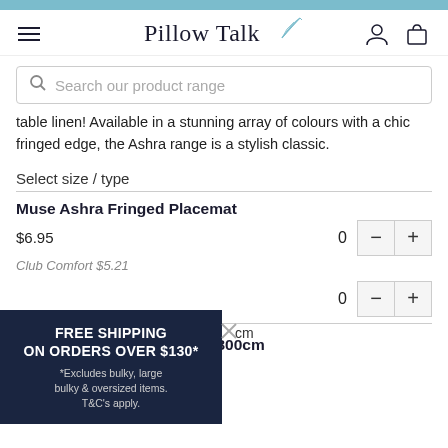Pillow Talk
Search our product range
table linen! Available in a stunning array of colours with a chic fringed edge, the Ashra range is a stylish classic.
Select size / type
Muse Ashra Fringed Placemat
$6.95
Club Comfort $5.21
FREE SHIPPING ON ORDERS OVER $130*
*Excludes bulky, large bulky & oversized items. T&C's apply.
Rectangle Table Cloth 150x300cm